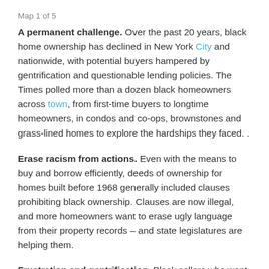Map 1 of 5
A permanent challenge. Over the past 20 years, black home ownership has declined in New York City and nationwide, with potential buyers hampered by gentrification and questionable lending policies. The Times polled more than a dozen black homeowners across town, from first-time buyers to longtime homeowners, in condos and co-ops, brownstones and grass-lined homes to explore the hardships they faced. .
Erase racism from actions. Even with the means to buy and borrow efficiently, deeds of ownership for homes built before 1968 generally included clauses prohibiting black ownership. Clauses are now illegal, and more homeowners want to erase ugly language from their property records – and state legislatures are helping them.
Frustration and gentrification. Black sellers who want to keep their homes in the hands of black buyers often